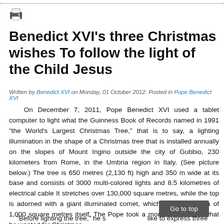[Figure (other): Printer icon]
Benedict XVI's three Christmas wishes To follow the light of the Child Jesus
Written by Benedict XVI on Monday, 01 October 2012. Posted in Pope Benedict XVI
On December 7, 2011, Pope Benedict XVI used a tablet computer to light what the Guinness Book of Records named in 1991 “the World’s Largest Christmas Tree,” that is to say, a lighting illumination in the shape of a Christmas tree that is installed annually on the slopes of Mount Ingino outside the city of Gubbio, 230 kilometers from Rome, in the Umbria region in Italy. (See picture below.) The tree is 650 metres (2,130 ft) high and 350 m wide at its base and consists of 3000 multi-colored lights and 8.5 kilometres of electrical cable It stretches over 130,000 square metres, while the top is adorned with a giant illuminated comet, which covers an area of 1,000 square metres itself. The Pope took a moment to reveal what he wanted for Christmas.
“Before lighting the tree,” he s… like to express three